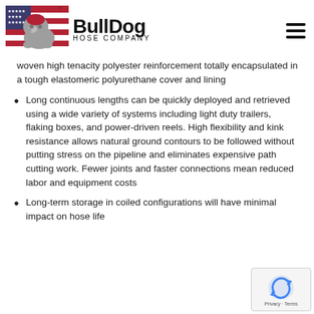[Figure (logo): BullDog Hose Company logo with bulldog mascot on American flag background and hamburger menu icon]
woven high tenacity polyester reinforcement totally encapsulated in a tough elastomeric polyurethane cover and lining
Long continuous lengths can be quickly deployed and retrieved using a wide variety of systems including light duty trailers, flaking boxes, and power-driven reels. High flexibility and kink resistance allows natural ground contours to be followed without putting stress on the pipeline and eliminates expensive path cutting work. Fewer joints and faster connections mean reduced labor and equipment costs
Long-term storage in coiled configurations will have minimal impact on hose life